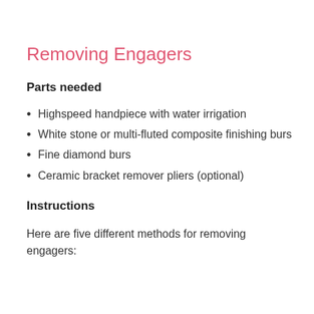Removing Engagers
Parts needed
Highspeed handpiece with water irrigation
White stone or multi-fluted composite finishing burs
Fine diamond burs
Ceramic bracket remover pliers (optional)
Instructions
Here are five different methods for removing engagers: